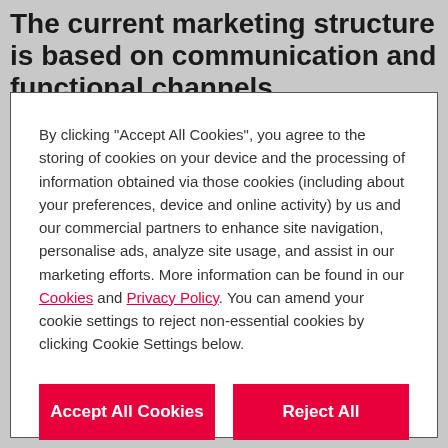The current marketing structure is based on communication and functional channels
By clicking “Accept All Cookies”, you agree to the storing of cookies on your device and the processing of information obtained via those cookies (including about your preferences, device and online activity) by us and our commercial partners to enhance site navigation, personalise ads, analyze site usage, and assist in our marketing efforts. More information can be found in our Cookies and Privacy Policy. You can amend your cookie settings to reject non-essential cookies by clicking Cookie Settings below.
Accept All Cookies
Reject All
Cookies Settings